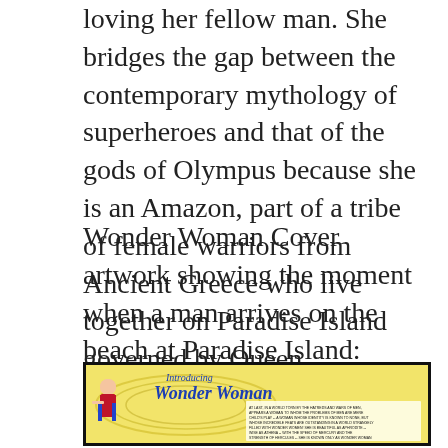loving her fellow man. She bridges the gap between the contemporary mythology of superheroes and that of the gods of Olympus because she is an Amazon, part of a tribe of female warriors from Ancient Greece who live together on Paradise Island governed by Queen Hippolyta.
Wonder Woman Cover artwork showing the moment when a man arrives on the beach at Paradise Island:
[Figure (photo): Wonder Woman comic book cover showing the introduction of Wonder Woman, with the character in her iconic costume, the title 'Introducing Wonder Woman' in blue stylized lettering, and text panels describing her origin.]